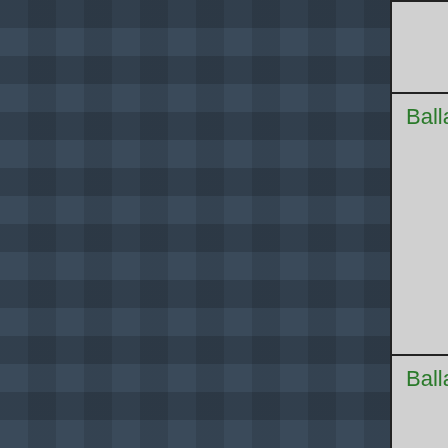| Maker | Model | Description |
| --- | --- | --- |
|  |  | heads) |
| Ballantine | 6127B | Scope c & comp keys. 1 risetime display. |
| Ballantine | 6130A | Time-M 2NS/Di |
| Barnet Vom |  | Pin Plug |
| Behlman |  | H Serie Sine UP |
| Biddle | 535 | Cable R |
| Bird Termaline | 82A | 50 ohm |